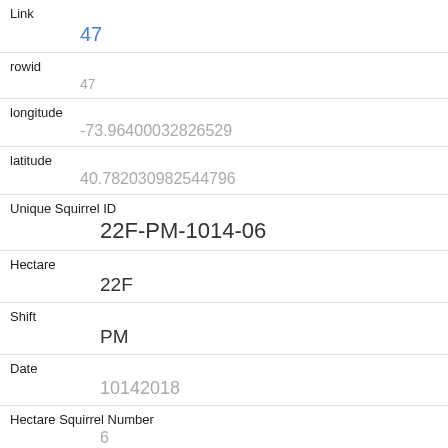| Field | Value |
| --- | --- |
| Link | 47 |
| rowid | 47 |
| longitude | -73.96400032826529 |
| latitude | 40.782030982544796 |
| Unique Squirrel ID | 22F-PM-1014-06 |
| Hectare | 22F |
| Shift | PM |
| Date | 10142018 |
| Hectare Squirrel Number | 6 |
| Age | Adult |